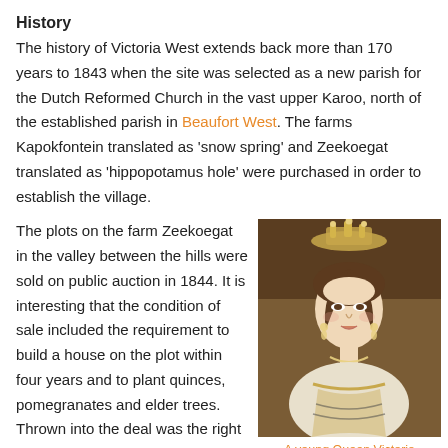History
The history of Victoria West extends back more than 170 years to 1843 when the site was selected as a new parish for the Dutch Reformed Church in the vast upper Karoo, north of the established parish in Beaufort West. The farms Kapokfontein translated as 'snow spring' and Zeekoegat translated as 'hippopotamus hole' were purchased in order to establish the village.
The plots on the farm Zeekoegat in the valley between the hills were sold on public auction in 1844. It is interesting that the condition of sale included the requirement to build a house on the plot within four years and to plant quinces, pomegranates and elder trees. Thrown into the deal was the right for each landed resident to graze
[Figure (photo): Portrait painting of a young Queen Victoria, painted by Franz Xavier Winterhalter. She wears a crown and formal attire.]
A young Queen Victoria
Franz Xavier Winterhalter